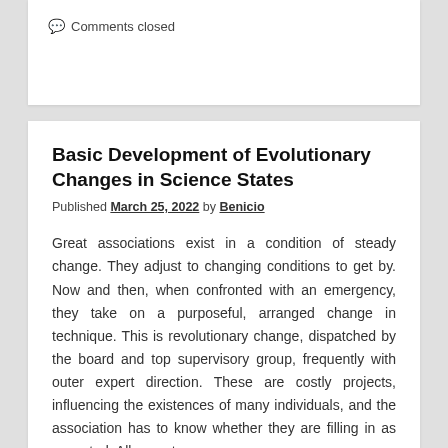💬 Comments closed
Basic Development of Evolutionary Changes in Science States
Published March 25, 2022 by Benicio
Great associations exist in a condition of steady change. They adjust to changing conditions to get by. Now and then, when confronted with an emergency, they take on a purposeful, arranged change in technique. This is revolutionary change, dispatched by the board and top supervisory group, frequently with outer expert direction. These are costly projects, influencing the existences of many individuals, and the association has to know whether they are filling in as expected. Allow us to